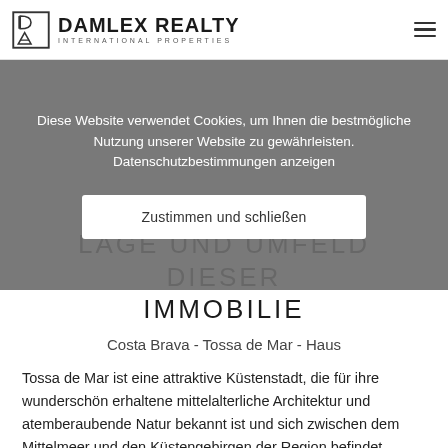DAMLEX REALTY INTERNATIONAL PROPERTIES
Diese Website verwendet Cookies, um Ihnen die bestmögliche Nutzung unserer Website zu gewährleisten. Datenschutzbestimmungen anzeigen
Zustimmen und schließen
LAGE UND UMFELD DIESER IMMOBILIE
Costa Brava - Tossa de Mar - Haus
Tossa de Mar ist eine attraktive Küstenstadt, die für ihre wunderschön erhaltene mittelalterliche Architektur und atemberaubende Natur bekannt ist und sich zwischen dem Mittelmeer und den Küstengebirgen der Region befindet.